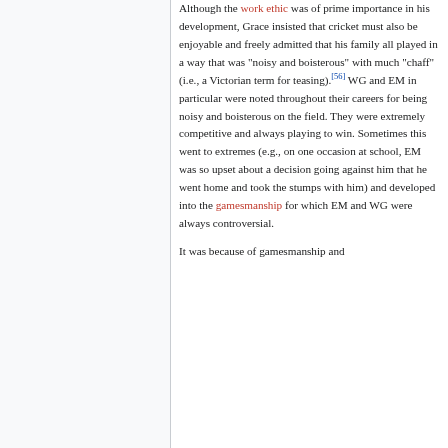Although the work ethic was of prime importance in his development, Grace insisted that cricket must also be enjoyable and freely admitted that his family all played in a way that was "noisy and boisterous" with much "chaff" (i.e., a Victorian term for teasing).[56] WG and EM in particular were noted throughout their careers for being noisy and boisterous on the field. They were extremely competitive and always playing to win. Sometimes this went to extremes (e.g., on one occasion at school, EM was so upset about a decision going against him that he went home and took the stumps with him) and developed into the gamesmanship for which EM and WG were always controversial.
It was because of gamesmanship and